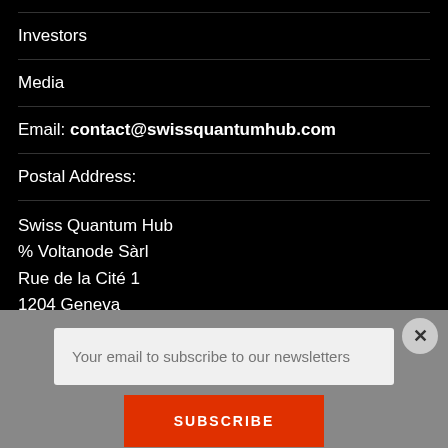Investors
Media
Email: contact@swissquantumhub.com
Postal Address:
Swiss Quantum Hub
% Voltanode Sàrl
Rue de la Cité 1
1204 Geneva
Switzerland
Your email to subscribe to our newsletters
SUBSCRIBE
By continuing, you accept the privacy policy